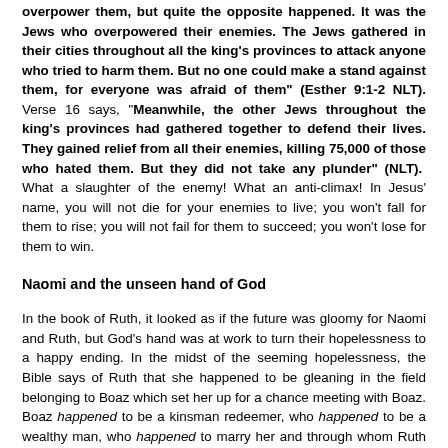overpower them, but quite the opposite happened. It was the Jews who overpowered their enemies. The Jews gathered in their cities throughout all the king's provinces to attack anyone who tried to harm them. But no one could make a stand against them, for everyone was afraid of them" (Esther 9:1-2 NLT). Verse 16 says, "Meanwhile, the other Jews throughout the king's provinces had gathered together to defend their lives. They gained relief from all their enemies, killing 75,000 of those who hated them. But they did not take any plunder" (NLT). What a slaughter of the enemy! What an anti-climax! In Jesus' name, you will not die for your enemies to live; you won't fall for them to rise; you will not fail for them to succeed; you won't lose for them to win.
Naomi and the unseen hand of God
In the book of Ruth, it looked as if the future was gloomy for Naomi and Ruth, but God's hand was at work to turn their hopelessness to a happy ending. In the midst of the seeming hopelessness, the Bible says of Ruth that she happened to be gleaning in the field belonging to Boaz which set her up for a chance meeting with Boaz. Boaz happened to be a kinsman redeemer, who happened to be a wealthy man, who happened to marry her and through whom Ruth happened to be pregnant and gave birth to a child called Obed who happened to be the father of Jesse who is the father of David from whose line the Messiah was born. I have used the word "happened" deliberately after the first one actually used by the Bible but none of the chain of events happened by chance. It